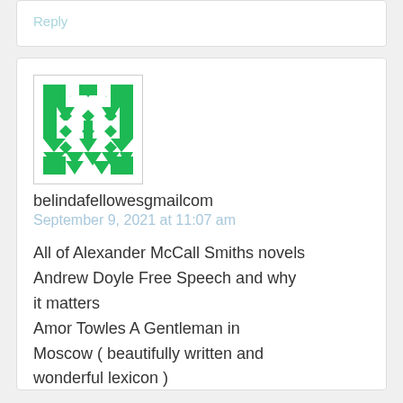Reply
[Figure (illustration): Green geometric avatar/identicon pattern on white background, made of triangles, squares, and diamond shapes in a grid pattern]
belindafellowesgmailcom
September 9, 2021 at 11:07 am
All of Alexander McCall Smiths novels Andrew Doyle Free Speech and why it matters Amor Towles A Gentleman in Moscow ( beautifully written and wonderful lexicon )